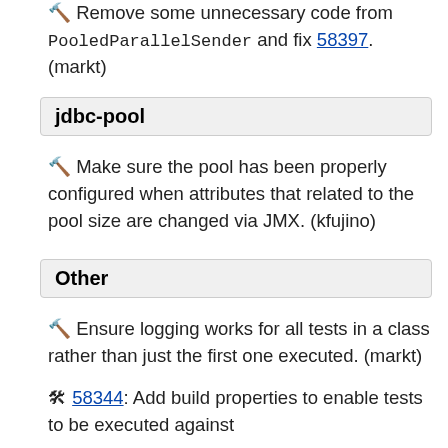🔧 Remove some unnecessary code from PooledParallelSender and fix 58397. (markt)
jdbc-pool
🔧 Make sure the pool has been properly configured when attributes that related to the pool size are changed via JMX. (kfujino)
Other
🔧 Ensure logging works for all tests in a class rather than just the first one executed. (markt)
🔧 58344: Add build properties to enable tests to be executed against